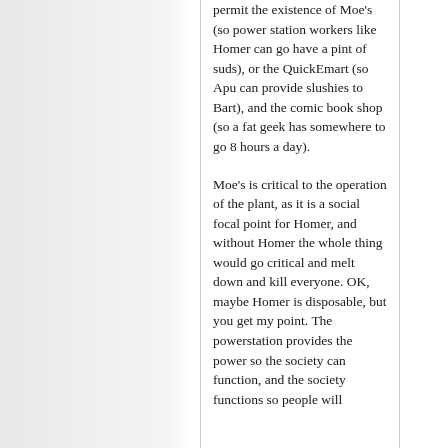permit the existence of Moe's (so power station workers like Homer can go have a pint of suds), or the QuickEmart (so Apu can provide slushies to Bart), and the comic book shop (so a fat geek has somewhere to go 8 hours a day).
Moe's is critical to the operation of the plant, as it is a social focal point for Homer, and without Homer the whole thing would go critical and melt down and kill everyone. OK, maybe Homer is disposable, but you get my point. The powerstation provides the power so the society can function, and the society functions so people will